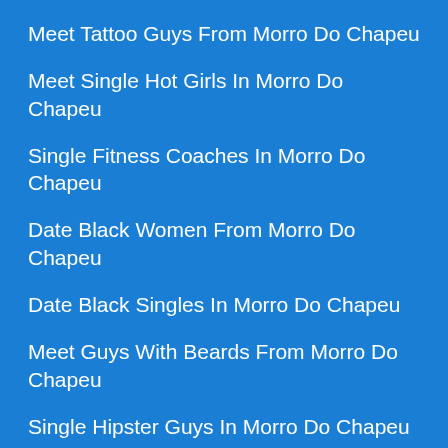Meet Tattoo Guys From Morro Do Chapeu
Meet Single Hot Girls In Morro Do Chapeu
Single Fitness Coaches In Morro Do Chapeu
Date Black Women From Morro Do Chapeu
Date Black Singles In Morro Do Chapeu
Meet Guys With Beards From Morro Do Chapeu
Single Hipster Guys In Morro Do Chapeu
Date Hipster Girls From Morro Do Chapeu
Meet Euro Girls From Morro Do Chapeu
Meet Single Cops From Morro Do Chapeu